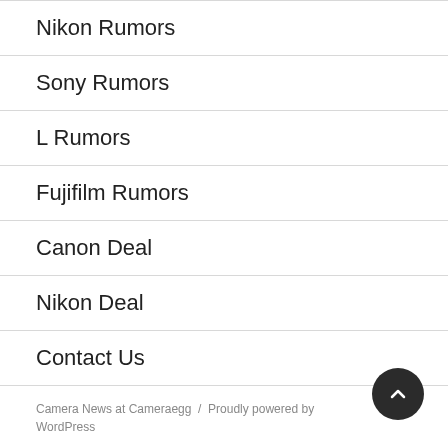Nikon Rumors
Sony Rumors
L Rumors
Fujifilm Rumors
Canon Deal
Nikon Deal
Contact Us
Camera News at Cameraegg / Proudly powered by WordPress
Cameraegg is a participant in the Amazon